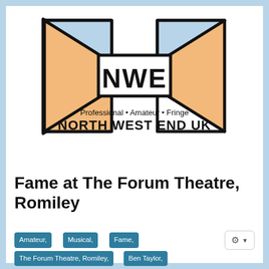[Figure (logo): NWE North West End UK logo — two stylised spotlights in blue and orange flanking a central rectangle with 'NWE' in large bold letters, and the text 'Professional • Amateur • Fringe' above 'NORTH WEST END UK' in bold beneath.]
Fame at The Forum Theatre, Romiley
Amateur, Musical, Fame, The Forum Theatre, Romiley, Ben Taylor, Dawn Wrigley, John Dean, Heather Schofield, Ben MacKenzie, Arnold Mabbane, Lucy Dean,